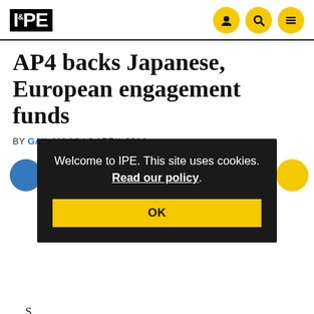IPE
AP4 backs Japanese, European engagement funds
BY GAIL MOSS | 8 APRIL 2014
Welcome to IPE. This site uses cookies. Read our policy.
OK
S... engagement funds from GO Investment Partners (GO), seeking exposure to European and Japanese small cap firms.